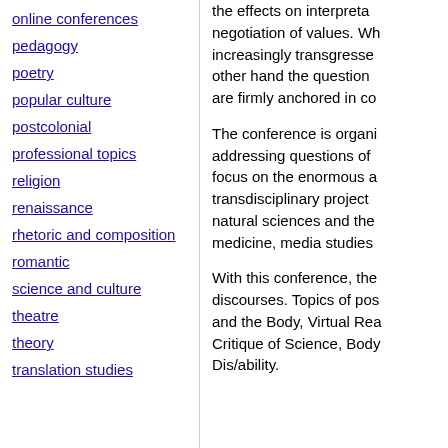online conferences
pedagogy
poetry
popular culture
postcolonial
professional topics
religion
renaissance
rhetoric and composition
romantic
science and culture
theatre
theory
translation studies
the effects on interpreta negotiation of values. Wh increasingly transgresse other hand the question are firmly anchored in co
The conference is organi addressing questions of focus on the enormous a transdisciplinary project natural sciences and the medicine, media studies
With this conference, the discourses. Topics of pos and the Body, Virtual Rea Critique of Science, Body Dis/ability.